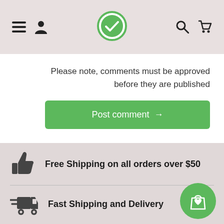[Figure (screenshot): Navigation bar with hamburger menu, user icon, green logo in center, search icon, and shopping cart icon]
Please note, comments must be approved before they are published
[Figure (other): Green 'Post comment →' button]
Free Shipping on all orders over $50
Fast Shipping and Delivery
[Figure (other): Green circle with shopping bag and heart icon]